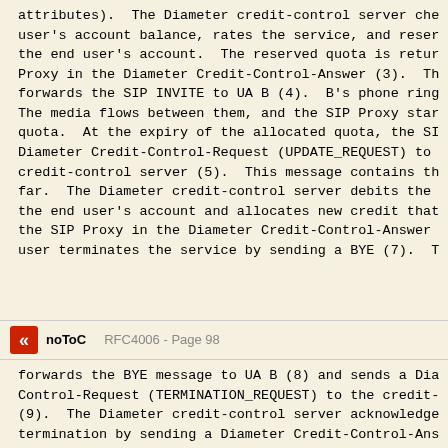attributes).  The Diameter credit-control server che user's account balance, rates the service, and reser the end user's account.  The reserved quota is retur Proxy in the Diameter Credit-Control-Answer (3).  Th forwards the SIP INVITE to UA B (4).  B's phone ring The media flows between them, and the SIP Proxy star quota.  At the expiry of the allocated quota, the SI Diameter Credit-Control-Request (UPDATE_REQUEST) to credit-control server (5).  This message contains th far.  The Diameter credit-control server debits the the end user's account and allocates new credit that the SIP Proxy in the Diameter Credit-Control-Answer user terminates the service by sending a BYE (7).  T
noToC    RFC4006 - Page 98
forwards the BYE message to UA B (8) and sends a Dia Control-Request (TERMINATION_REQUEST) to the credit- (9).  The Diameter credit-control server acknowledge termination by sending a Diameter Credit-Control-Ans Proxy (10).